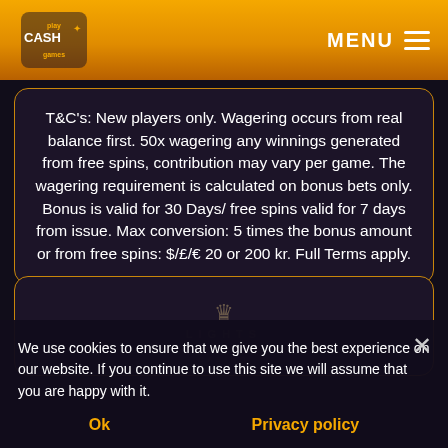Play Cash Games — MENU
T&C's: New players only. Wagering occurs from real balance first. 50x wagering any winnings generated from free spins, contribution may vary per game. The wagering requirement is calculated on bonus bets only. Bonus is valid for 30 Days/ free spins valid for 7 days from issue. Max conversion: 5 times the bonus amount or from free spins: $/£/€ 20 or 200 kr. Full Terms apply.
[Figure (logo): Lights Royal House casino logo with crown emblem]
We use cookies to ensure that we give you the best experience on our website. If you continue to use this site we will assume that you are happy with it.
Ok   Privacy policy